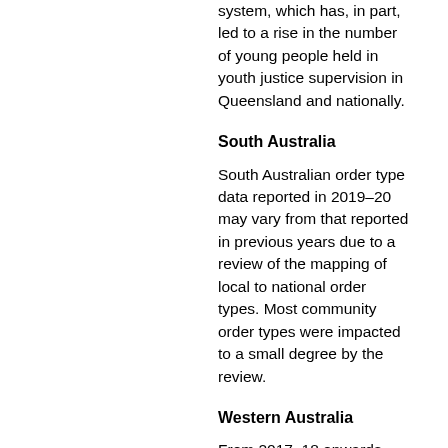system, which has, in part, led to a rise in the number of young people held in youth justice supervision in Queensland and nationally.
South Australia
South Australian order type data reported in 2019–20 may vary from that reported in previous years due to a review of the mapping of local to national order types. Most community order types were impacted to a small degree by the review.
Western Australia
From 2017–18 onwards, Western Australia was able to capture more accurate legal status changes, so unsentenced orders